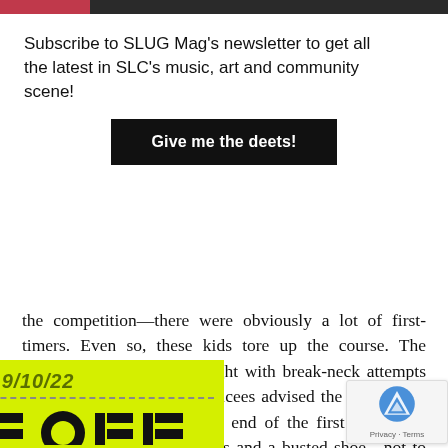Subscribe to SLUG Mag's newsletter to get all the latest in SLC's music, art and community scene!
Give me the deets!
the competition—there were obviously a lot of first-timers. Even so, these kids tore up the course. The opening minutes were fraught with break-neck attempts at bangers for which the emcees advised the contestants to pace themselves. By the end of the first jam, there were two pairs of split pants and a busted shoe—not to mention a winded gaggle of skaters.
[Figure (other): Yellow advertisement banner showing date 9/10/22 with large black lettering partially visible at bottom]